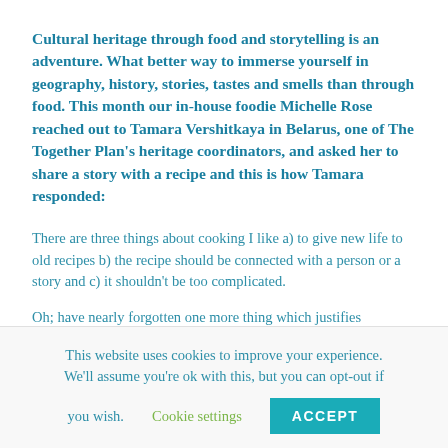Cultural heritage through food and storytelling is an adventure. What better way to immerse yourself in geography, history, stories, tastes and smells than through food. This month our in-house foodie Michelle Rose reached out to Tamara Vershitkaya in Belarus, one of The Together Plan's heritage coordinators, and asked her to share a story with a recipe and this is how Tamara responded:
There are three things about cooking I like a) to give new life to old recipes b) the recipe should be connected with a person or a story and c) it shouldn't be too complicated.
Oh; have nearly forgotten one more thing which justifies
This website uses cookies to improve your experience. We'll assume you're ok with this, but you can opt-out if you wish. Cookie settings ACCEPT